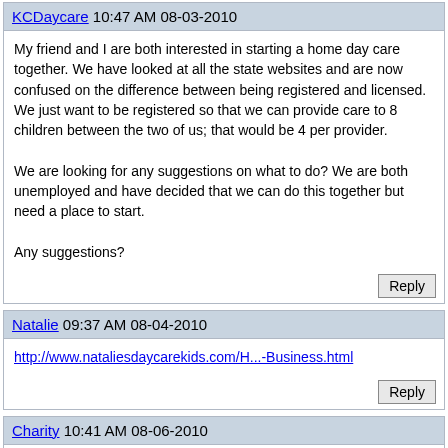KCDaycare 10:47 AM 08-03-2010
My friend and I are both interested in starting a home day care together. We have looked at all the state websites and are now confused on the difference between being registered and licensed. We just want to be registered so that we can provide care to 8 children between the two of us; that would be 4 per provider.

We are looking for any suggestions on what to do? We are both unemployed and have decided that we can do this together but need a place to start.

Any suggestions?
Natalie 09:37 AM 08-04-2010
http://www.nataliesdaycarekids.com/H...-Business.html
Charity 10:41 AM 08-06-2010
Hello All!! I am new to the forum and currently starting a small Child Care Business in my home. Any help wouldbe greatly appreciated. The laws here are so touchy.... and have thrown me from one person to the next. Can anyone tell me what would help to get word out?? Can I be licensed in myome and watch more than 6?? The Health department tells me that once I become licensed I can not watch from my home that I have to open a building. PLEASE any help on home child care is